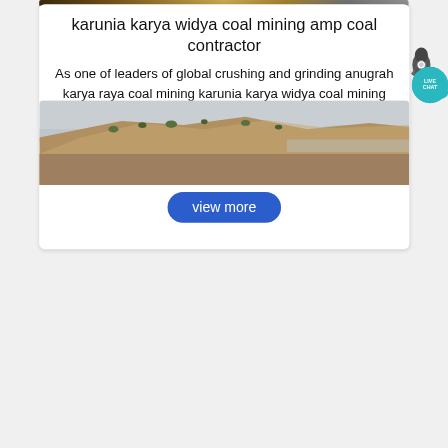[Figure (photo): Partial top strip showing mining equipment/excavation site]
karunia karya widya coal mining amp coal contractor
As one of leaders of global crushing and grinding anugrah karya raya coal mining karunia karya widya coal mining amp, karunia karya widya coal mining coal contractor. Live Chat; karunia karya widya coal mining - kidzzonein.
[Figure (photo): Quarry or open-pit mining landscape showing rocky hillside with sparse vegetation and distant plains]